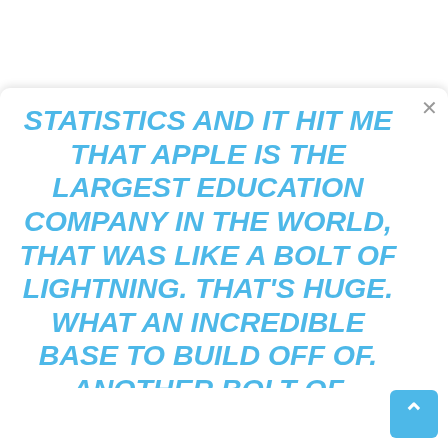STATISTICS AND IT HIT ME THAT APPLE IS THE LARGEST EDUCATION COMPANY IN THE WORLD, THAT WAS LIKE A BOLT OF LIGHTNING. THAT'S HUGE. WHAT AN INCREDIBLE BASE TO BUILD OFF OF. ANOTHER BOLT OF LIGHTNING IS THAT APPLE PLUS MICROSOFT EQUALS 100 PERCENT OF THE DESKTOP COMPUTER MARKET. AND SO, WHATEVER APPLE AND MICROSOFT AGREE TO DO, IT'S A